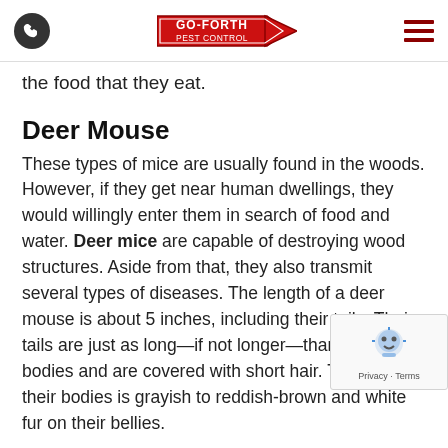Go-Forth Pest Control
the food that they eat.
Deer Mouse
These types of mice are usually found in the woods. However, if they get near human dwellings, they would willingly enter them in search of food and water. Deer mice are capable of destroying wood structures. Aside from that, they also transmit several types of diseases. The length of a deer mouse is about 5 inches, including their tails. Their tails are just as long—if not longer—than their bodies and are covered with short hair. The color of their bodies is grayish to reddish-brown and white fur on their bellies.
Field Mi...